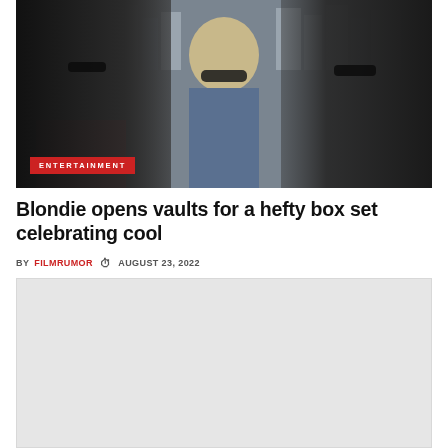[Figure (photo): Three members of Blondie standing in front of a city skyline, wearing sunglasses. The person on the left wears a red shirt, the center person has blonde hair, and the person on the right has grey hair. A red 'ENTERTAINMENT' tag is overlaid on the lower left of the photo.]
Blondie opens vaults for a hefty box set celebrating cool
BY FILMRUMOR  AUGUST 23, 2022
[Figure (photo): A second image placeholder (light grey rectangle) below the article byline]